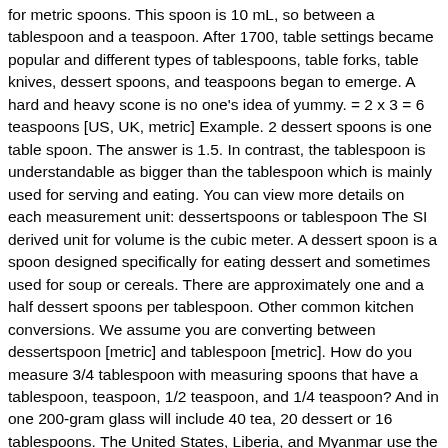for metric spoons. This spoon is 10 mL, so between a tablespoon and a teaspoon. After 1700, table settings became popular and different types of tablespoons, table forks, table knives, dessert spoons, and teaspoons began to emerge. A hard and heavy scone is no one's idea of yummy. = 2 x 3 = 6 teaspoons [US, UK, metric] Example. 2 dessert spoons is one table spoon. The answer is 1.5. In contrast, the tablespoon is understandable as bigger than the tablespoon which is mainly used for serving and eating. You can view more details on each measurement unit: dessertspoons or tablespoon The SI derived unit for volume is the cubic meter. A dessert spoon is a spoon designed specifically for eating dessert and sometimes used for soup or cereals. There are approximately one and a half dessert spoons per tablespoon. Other common kitchen conversions. We assume you are converting between dessertspoon [metric] and tablespoon [metric]. How do you measure 3/4 tablespoon with measuring spoons that have a tablespoon, teaspoon, 1/2 teaspoon, and 1/4 teaspoon? And in one 200-gram glass will include 40 tea, 20 dessert or 16 tablespoons. The United States, Liberia, and Myanmar use the imperial system, while the rest of the world uses the metric system. By extension, the term is also used as a cooking measure of volume. A teaspoon is the smallest, a tablespoon is the largest, and then a DESSERT spoon falls in between. Use this page to learn how to convert between grams and dessertspoons. One tablespoon of butter is equal to 1/8 of a stick or 1/2 ounce. One cup of butter is equal to 2